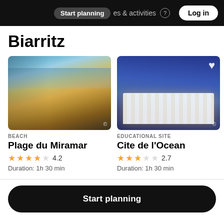Start planning   places & activities   Log in
Biarritz
[Figure (photo): Aerial view of Plage du Miramar beach in Biarritz at golden hour, showing sandy beach, ocean waves, and coastal buildings]
BEACH
Plage du Miramar
★★★★☆ 4.2
Duration: 1h 30 min
[Figure (photo): Modern white glass building of Cite de l'Ocean educational site photographed at dusk with blue sky]
EDUCATIONAL SITE
Cite de l'Ocean
★★★☆☆ 2.7
Duration: 1h 30 min
Start planning